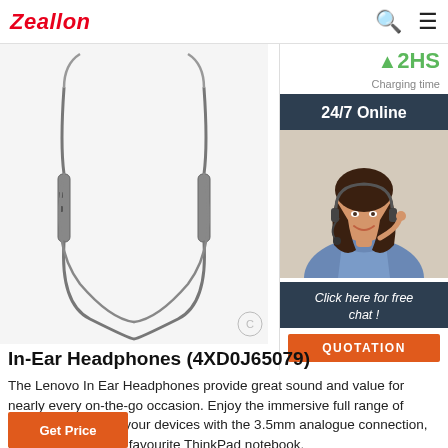Zeallon
[Figure (photo): Product photo of Lenovo In-Ear Headphones (4XD0J65079) showing neckband style earphones with metallic control modules against a white background]
[Figure (photo): Customer service representative (woman with headset) for 24/7 online chat support widget on sidebar. Includes '24/7 Online' header, 'Click here for free chat!' call to action, and orange QUOTATION button. Also shows green charging time indicator at top.]
In-Ear Headphones (4XD0J65079)
The Lenovo In Ear Headphones provide great sound and value for nearly every on-the-go occasion. Enjoy the immersive full range of sound across all of your devices with the 3.5mm analogue connection, especially with your favourite ThinkPad notebook.